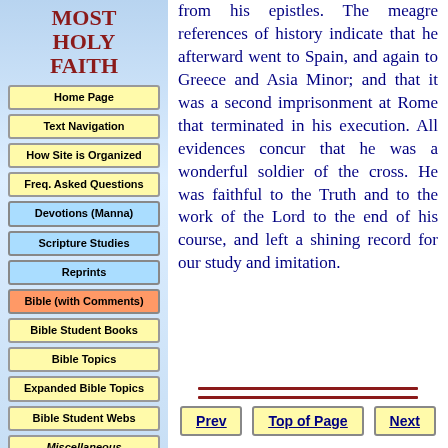MOST HOLY FAITH
Home Page
Text Navigation
How Site is Organized
Freq. Asked Questions
Devotions (Manna)
Scripture Studies
Reprints
Bible (with Comments)
Bible Student Books
Bible Topics
Expanded Bible Topics
Bible Student Webs
Miscellaneous
from his epistles. The meagre references of history indicate that he afterward went to Spain, and again to Greece and Asia Minor; and that it was a second imprisonment at Rome that terminated in his execution. All evidences concur that he was a wonderful soldier of the cross. He was faithful to the Truth and to the work of the Lord to the end of his course, and left a shining record for our study and imitation.
Prev
Top of Page
Next